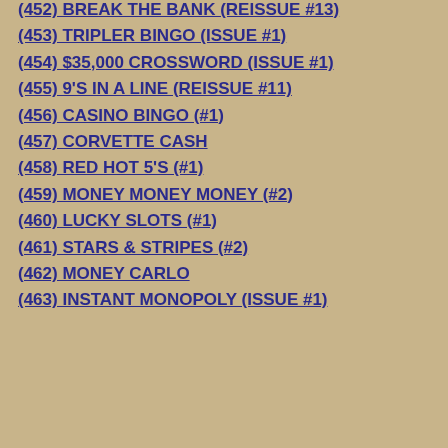(452) BREAK THE BANK (REISSUE #13)
(453) TRIPLER BINGO (ISSUE #1)
(454) $35,000 CROSSWORD (ISSUE #1)
(455) 9'S IN A LINE (REISSUE #11)
(456) CASINO BINGO (#1)
(457) CORVETTE CASH
(458) RED HOT 5'S (#1)
(459) MONEY MONEY MONEY (#2)
(460) LUCKY SLOTS (#1)
(461) STARS & STRIPES (#2)
(462) MONEY CARLO
(463) INSTANT MONOPOLY (ISSUE #1)